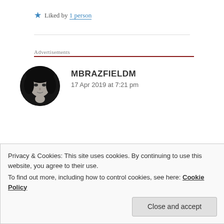★ Liked by 1 person
Advertisements
[Figure (photo): Circular avatar photo of user mbrazfieldm, black and white portrait of a woman with dark hair]
MBRAZFIELDM
17 Apr 2019 at 7:21 pm
Privacy & Cookies: This site uses cookies. By continuing to use this website, you agree to their use.
To find out more, including how to control cookies, see here: Cookie Policy
Close and accept